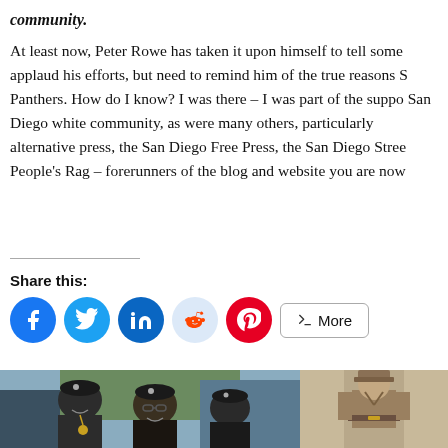community.
At least now, Peter Rowe has taken it upon himself to tell some applaud his efforts, but need to remind him of the true reasons S Panthers. How do I know? I was there – I was part of the suppo San Diego white community, as were many others, particularly alternative press, the San Diego Free Press, the San Diego Stree People's Rag – forerunners of the blog and website you are now
Share this:
[Figure (photo): Two photos side by side at the bottom of the page. Left photo shows three men wearing black berets smiling outdoors. Right photo is a vintage/sepia image of a person in uniform.]